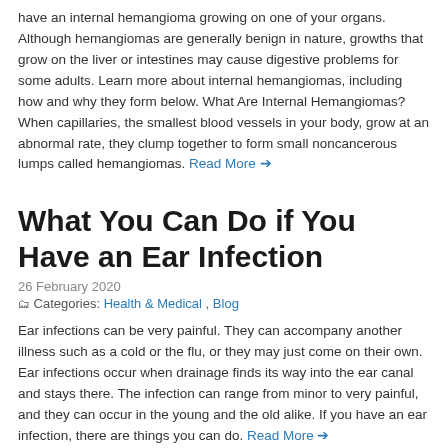have an internal hemangioma growing on one of your organs. Although hemangiomas are generally benign in nature, growths that grow on the liver or intestines may cause digestive problems for some adults. Learn more about internal hemangiomas, including how and why they form below. What Are Internal Hemangiomas? When capillaries, the smallest blood vessels in your body, grow at an abnormal rate, they clump together to form small noncancerous lumps called hemangiomas. Read More →
What You Can Do if You Have an Ear Infection
26 February 2020
Categories: Health & Medical , Blog
Ear infections can be very painful. They can accompany another illness such as a cold or the flu, or they may just come on their own. Ear infections occur when drainage finds its way into the ear canal and stays there. The infection can range from minor to very painful, and they can occur in the young and the old alike. If you have an ear infection, there are things you can do. Read More →